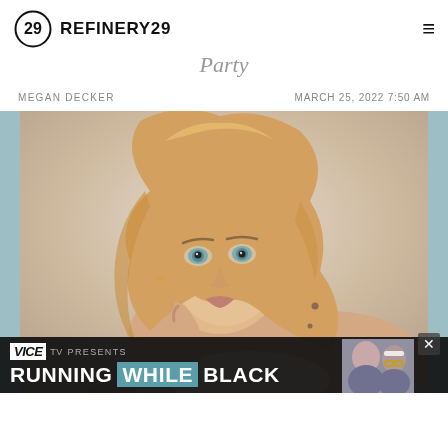REFINERY29
Party
MEGAN DECKER    MARCH 25, 2022 7:50 AM
[Figure (photo): Portrait photo of a blonde woman with wavy hair, resting her chin on her hand, wearing a white top, with teal border accents on sides. An ad overlay at the bottom reads: VICE TV PRESENTS RUNNING WHILE BLACK, with a thumbnail of two people.]